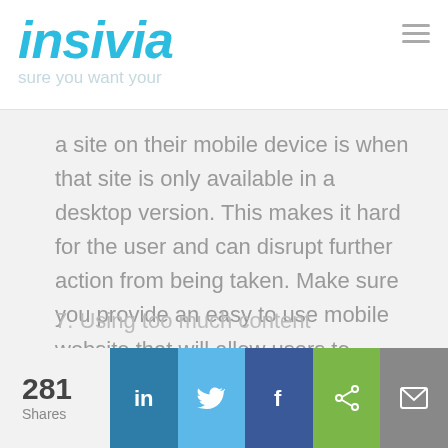insivia
a site on their mobile device is when that site is only available in a desktop version. This makes it hard for the user and can disrupt further action from being taken. Make sure you provide an easy to use mobile website that will allow users to navigate through your sites content without a problem.
7. Using too much content
281 Shares | LinkedIn | Twitter | Facebook | Share | Email